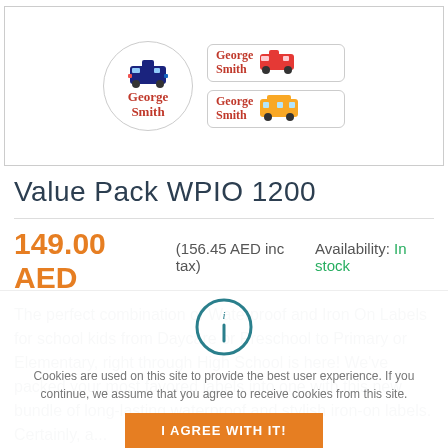[Figure (photo): Product label samples: a circular label and two rectangular labels, each showing 'George Smith' in red with vehicle icons (police car, fire truck, school bus)]
Value Pack WPIO 1200
149.00 AED  (156.45 AED inc tax)  Availability: In stock
The perfect combination of Waterproof and Iron On Labels for school kids from Daycare or Preschool to Primary or Elementary, right through High School is here! We've packed your most favored labels into one with this new bundle of long-lasting waterproof and stylish iron-on labels. Certainly, a...
Cookies are used on this site to provide the best user experience. If you continue, we assume that you agree to receive cookies from this site.
I AGREE WITH IT!